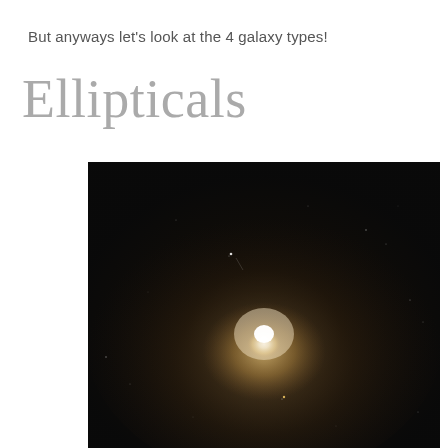But anyways let's look at the 4 galaxy types!
Ellipticals
[Figure (photo): Astronomical photograph of an elliptical galaxy against a dark sky background. The galaxy appears as a bright white glowing core fading to a diffuse yellowish-orange halo, surrounded by a few faint stars scattered in the dark field.]